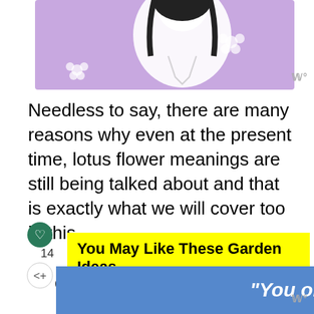[Figure (illustration): Illustration of a woman with dark hair against a purple background with white flowers]
Needless to say, there are many reasons why even at the present time, lotus flower meanings are still being talked about and that is exactly what we will cover too in this article.
14
You May Like These Garden Ideas
WHAT'S NEXT → The Mystical Meaning an...
68+ Lawn Edging Ideas
[Figure (photo): Circular thumbnail of garden/flower photo]
[Figure (other): Blue banner advertisement with text 'You okay?']